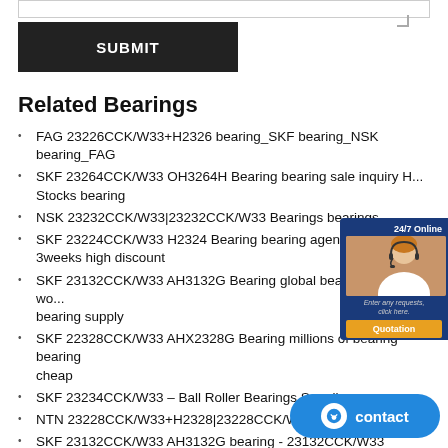Related Bearings
FAG 23226CCK/W33+H2326 bearing_SKF bearing_NSK bearing_FAG
SKF 23264CCK/W33 OH3264H Bearing bearing sale inquiry H... Stocks bearing
NSK 23232CCK/W33|23232CCK/W33 Bearings bearings
SKF 23224CCK/W33 H2324 Bearing bearing agent consult bea... 3weeks high discount
SKF 23132CCK/W33 AH3132G Bearing global bearing brand wo... bearing supply
SKF 22328CCK/W33 AHX2328G Bearing millions of bearing bearing cheap
SKF 23234CCK/W33 – Ball Roller Bearings Supplier
NTN 23228CCK/W33+H2328|23228CCK/W33+H2328 Bearings
SKF 23132CCK/W33 AH3132G bearing - 23132CCK/W33 AH3132G
SKF (Material) Spherical Roller Bearings *23240CCK/W33
SKF | 23260CCK/W33 | Bearings | bearings
KOYO 23230CCK/W33+H2330|23230CCK/W33+H...
NSK|23264CCK/W33|3153264|bearings Central African